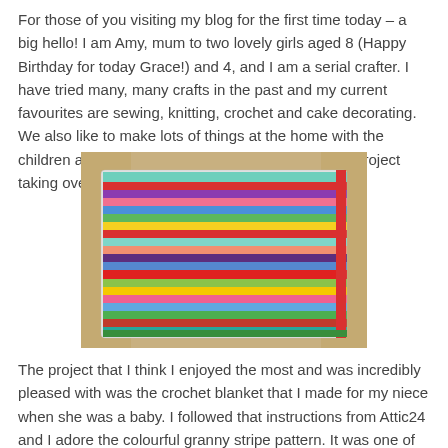For those of you visiting my blog for the first time today – a big hello! I am Amy, mum to two lovely girls aged 8 (Happy Birthday for today Grace!) and 4, and I am a serial crafter. I have tried many, many crafts in the past and my current favourites are sewing, knitting, crochet and cake decorating. We also like to make lots of things at the home with the children and you'll usually find some sort of messy project taking over the dining room table!
[Figure (photo): A colourful crocheted granny stripe blanket with multicoloured horizontal stripes in red, pink, purple, blue, green, yellow and other colours, folded and resting on a beige/tan leather sofa.]
The project that I think I enjoyed the most and was incredibly pleased with was the crochet blanket that I made for my niece when she was a baby. I followed that instructions from Attic24 and I adore the colourful granny stripe pattern. It was one of my first crochet projects and I can't